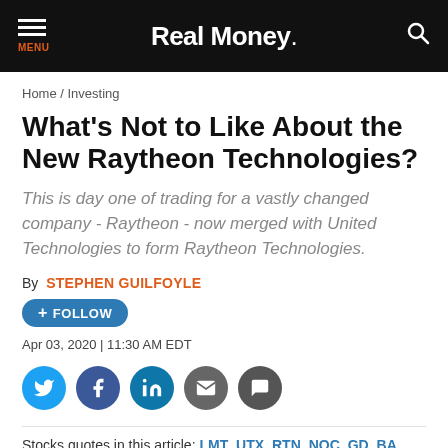Real Money
Home / Investing
What's Not to Like About the New Raytheon Technologies?
This is day one of trading for a vastly changed company - Raytheon - now merged with United Technologies to form Raytheon Technologies.
By STEPHEN GUILFOYLE
+ FOLLOW
Apr 03, 2020 | 11:30 AM EDT
[Figure (other): Social sharing buttons: Twitter, Facebook, LinkedIn, Email, Comment]
Stocks quotes in this article: LMT UTX RTN NOC GD BA